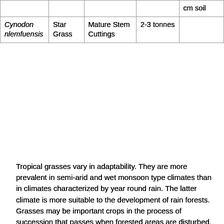|  |  |  |  | cm soil |
| --- | --- | --- | --- | --- |
| Cynodon nlemfuensis | Star Grass | Mature Stem Cuttings | 2-3 tonnes |  |
Tropical grasses vary in adaptability. They are more prevalent in semi-arid and wet monsoon type climates than in climates characterized by year round rain. The latter climate is more suitable to the development of rain forests. Grasses may be important crops in the process of succession that passes when forested areas are disturbed. Or, grasses may invade such areas and permanently exclude the forest.
Grasses are either adapted to medium temperature (15-20 degrees C) and medium light intensities with C-3 type of photosynthesis or, as in the case of most tropical grasses, their growth rate will increase with increased temperature and light intensity up to more than 30 degrees C. Such grasses have the C-4 type of photosynthesis. Most tropical grasses are day neutral; that is, they